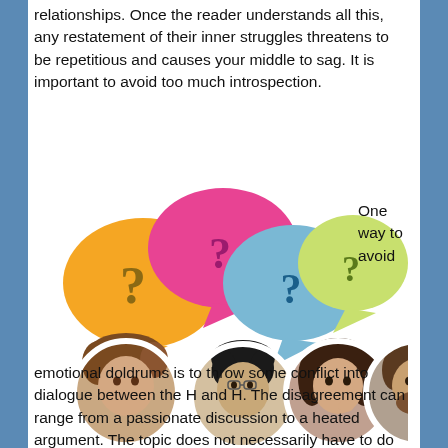relationships. Once the reader understands all this, any restatement of their inner struggles threatens to be repetitious and causes your middle to sag. It is important to avoid too much introspection.
[Figure (illustration): Colorful speech bubbles with question marks above circular portrait photos of four people (three women and one man).]
One way to avoid
emotional doldrums is to throw some conflict into dialogue between the H and H. The disagreement can range from a passionate discussion to a heated argument. The topic does not necessarily have to do with the central romantic conflict. It can be a difference of opinion about anything from the arts to sports that reveals a particular sensitivity or loyalty in